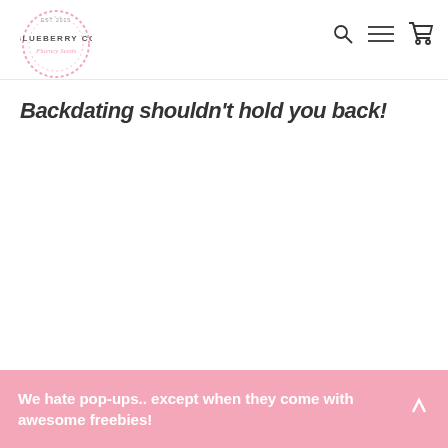[Figure (logo): Blueberry Co logo — circular dotted border with text 'BLUEBERRY CO' and script text 'Fluency Seeds' inside]
[Figure (other): Navigation icons: search (magnifying glass), hamburger menu (three lines), and shopping cart]
Backdating shouldn't hold you back!
We hate pop-ups.. except when they come with awesome freebies!